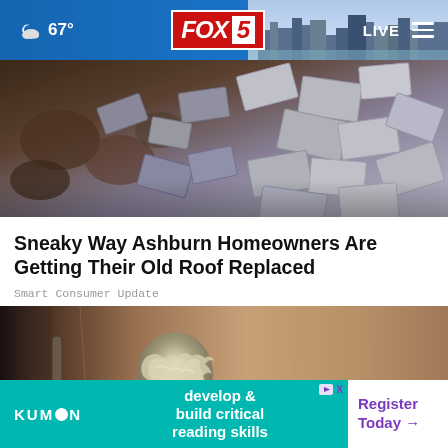67° FOX 5 LIVE
[Figure (photo): Damaged roof shingles and debris, overhead view of broken/scattered roofing materials]
Sneaky Way Ashburn Homeowners Are Getting Their Old Roof Replaced
Smart Consumer Update
[Figure (photo): Close-up of a door knob wrapped in aluminum foil on a wooden door]
[Figure (other): Kumon advertisement banner: develop & build critical reading skills — Register Today →]